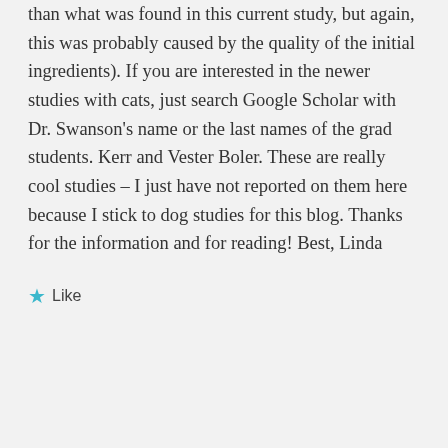than what was found in this current study, but again, this was probably caused by the quality of the initial ingredients). If you are interested in the newer studies with cats, just search Google Scholar with Dr. Swanson's name or the last names of the grad students. Kerr and Vester Boler. These are really cool studies – I just have not reported on them here because I stick to dog studies for this blog. Thanks for the information and for reading! Best, Linda
★ Like